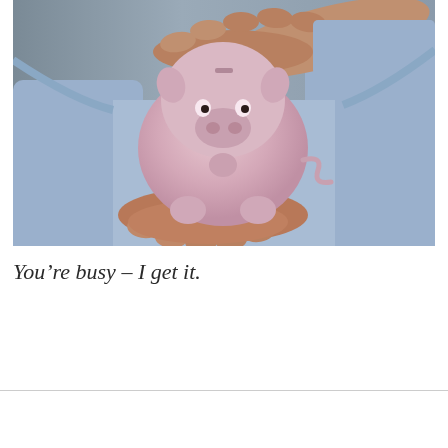[Figure (photo): A person in a light blue dress shirt holding a pink piggy bank in both hands, with one hand cupped underneath and the other hand arched protectively over the top, suggesting protection or savings. The background is a neutral grey gradient.]
You're busy – I get it.